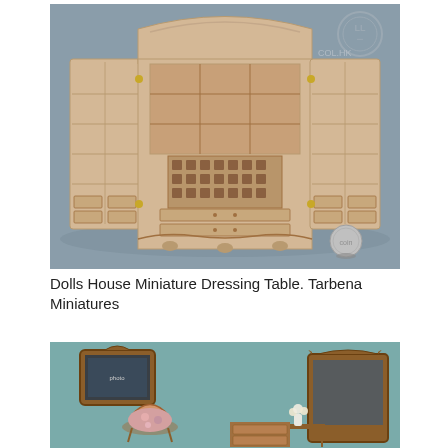[Figure (photo): A miniature wooden wardrobe/armoire with multiple shelves, drawers, and compartments, photographed open with a coin for scale. Watermark 'COL.HK' with logo circle in top-right corner. Blue-grey background.]
Dolls House Miniature Dressing Table. Tarbena Miniatures
[Figure (photo): A miniature dolls house dressing table set with ornate wooden mirror frame, floral-upholstered chair, small side table, and decorative wall mirror, arranged against a teal background.]